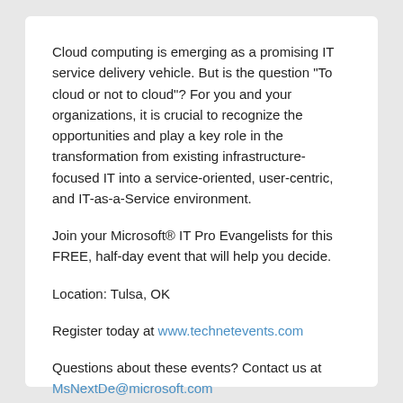Cloud computing is emerging as a promising IT service delivery vehicle. But is the question "To cloud or not to cloud"? For you and your organizations, it is crucial to recognize the opportunities and play a key role in the transformation from existing infrastructure-focused IT into a service-oriented, user-centric, and IT-as-a-Service environment.
Join your Microsoft® IT Pro Evangelists for this FREE, half-day event that will help you decide.
Location: Tulsa, OK
Register today at www.technetevents.com
Questions about these events? Contact us at MsNextDe@microsoft.com
Stay Connected - www.facebook.com/msnextdev